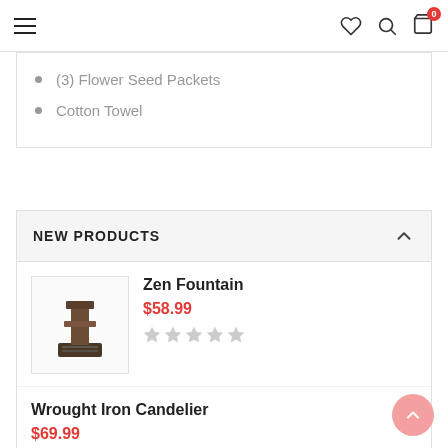Navigation bar with hamburger menu, heart, search, and cart (0 items) icons
(3) Flower Seed Packets
Cotton Towel
NEW PRODUCTS
Zen Fountain
$58.99
[Figure (illustration): Zen fountain product image — a small dark wood and stone tabletop water fountain]
Wrought Iron Candelier
$69.99